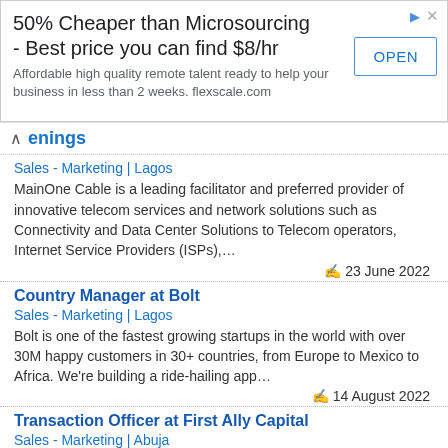[Figure (screenshot): Advertisement banner: '50% Cheaper than Microsourcing - Best price you can find $8/hr' with OPEN button, from flexscale.com]
enings
Sales - Marketing | Lagos
MainOne Cable is a leading facilitator and preferred provider of innovative telecom services and network solutions such as Connectivity and Data Center Solutions to Telecom operators, Internet Service Providers (ISPs),…
23 June 2022
Country Manager at Bolt
Sales - Marketing | Lagos
Bolt is one of the fastest growing startups in the world with over 30M happy customers in 30+ countries, from Europe to Mexico to Africa. We're building a ride-hailing app…
14 August 2022
Transaction Officer at First Ally Capital
Sales - Marketing | Abuja
First Ally Capital is a wholly indigenous Financial Services firm, whose focus is on providing top notch advisory &